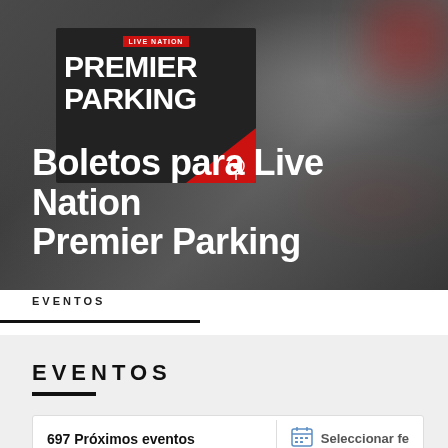[Figure (logo): Live Nation Premier Parking logo: dark background with LIVE NATION red badge, bold white text PREMIER PARKING, red diagonal slash with parking icon at bottom right]
Boletos para Live Nation Premier Parking
EVENTOS
EVENTOS
697 Próximos eventos
Seleccionar fe